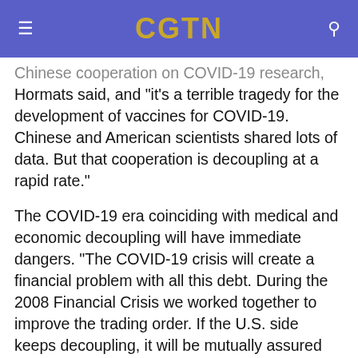CGTN
Chinese cooperation on COVID-19 research, Hormats said, and "it's a terrible tragedy for the development of vaccines for COVID-19. Chinese and American scientists shared lots of data. But that cooperation is decoupling at a rapid rate."
The COVID-19 era coinciding with medical and economic decoupling will have immediate dangers. "The COVID-19 crisis will create a financial problem with all this debt. During the 2008 Financial Crisis we worked together to improve the trading order. If the U.S. side keeps decoupling, it will be mutually assured destruction,"he added.
Despite the dangers, the pandemic is opening...